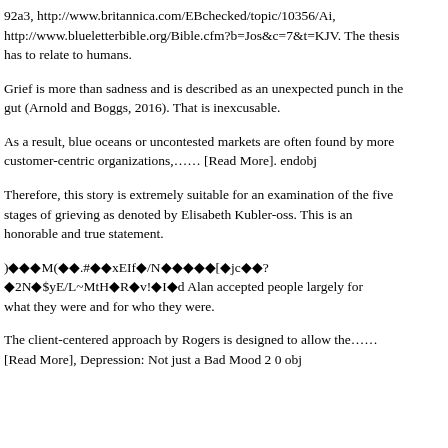92a3, http://www.britannica.com/EBchecked/topic/10356/Ai, http://www.blueletterbible.org/Bible.cfm?b=Jos&c=7&t=KJV. The thesis has to relate to humans.
Grief is more than sadness and is described as an unexpected punch in the gut (Arnold and Boggs, 2016). That is inexcusable.
As a result, blue oceans or uncontested markets are often found by more customer-centric organizations,……  [Read More]. endobj
Therefore, this story is extremely suitable for an examination of the five stages of grieving as denoted by Elisabeth Kubler-oss. This is an honorable and true statement.
)◆◆◆M(◆◆.#◆◆xEIf◆/N◆◆◆◆◆[◆jc◆◆? ◆2N◆$yE/L~MtH◆R◆v!◆I◆d Alan accepted people largely for what they were and for who they were.
The client-centered approach by Rogers is designed to allow the…… [Read More], Depression: Not just a Bad Mood 2 0 obj